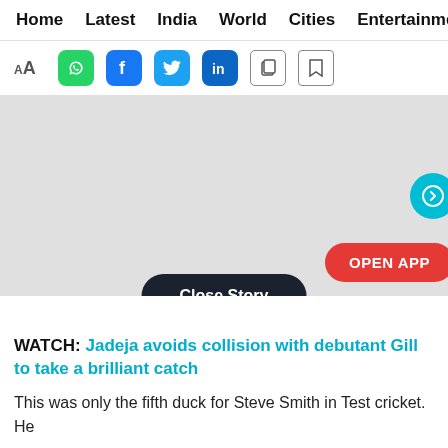Home  Latest  India  World  Cities  Entertainment
[Figure (screenshot): Toolbar with font size icon (AA), WhatsApp, Facebook, Twitter, LinkedIn social share buttons, copy and bookmark icons]
[Figure (photo): Gray placeholder media area with a teal next arrow button on right and a red OPEN APP button at bottom right, and a Close Story button at the bottom center]
WATCH: Jadeja avoids collision with debutant Gill to take a brilliant catch
This was only the fifth duck for Steve Smith in Test cricket. He